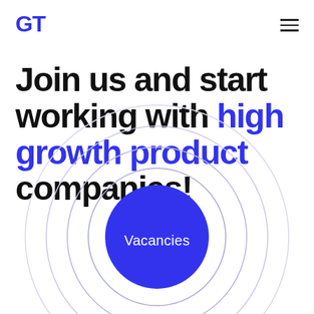GT
Join us and start working with high growth product companies!
[Figure (infographic): Concentric circles (target/bullseye graphic) with a blue filled center circle labeled 'Vacancies'. The outer rings are light gray/blue, getting darker toward center. The center circle is filled solid blue (#3333ee) with white text 'Vacancies'.]